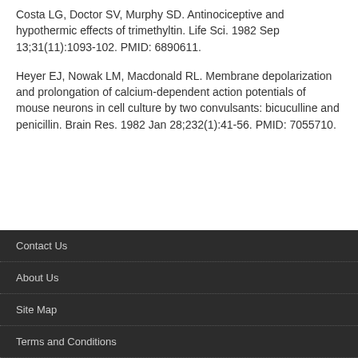Costa LG, Doctor SV, Murphy SD. Antinociceptive and hypothermic effects of trimethyltin. Life Sci. 1982 Sep 13;31(11):1093-102. PMID: 6890611.
Heyer EJ, Nowak LM, Macdonald RL. Membrane depolarization and prolongation of calcium-dependent action potentials of mouse neurons in cell culture by two convulsants: bicuculline and penicillin. Brain Res. 1982 Jan 28;232(1):41-56. PMID: 7055710.
Contact Us
About Us
Site Map
Terms and Conditions